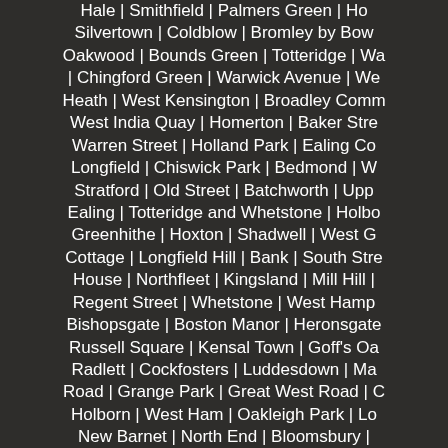Hale | Smithfield | Palmers Green | Ho... Silvertown | Coldblow | Bromley by Bow... Oakwood | Bounds Green | Totteridge | Wa... | Chingford Green | Warwick Avenue | We... Heath | West Kensington | Broadley Comm... West India Quay | Homerton | Baker Stre... Warren Street | Holland Park | Ealing Co... Longfield | Chiswick Park | Bedmond | W... Stratford | Old Street | Batchworth | Upp... Ealing | Totteridge and Whetstone | Holbo... Greenhithe | Hoxton | Shadwell | West G... Cottage | Longfield Hill | Bank | South Stre... House | Northfleet | Kingsland | Mill Hill |... Regent Street | Whetstone | West Hamp... Bishopsgate | Boston Manor | Heronsgate... Russell Square | Kensal Town | Goff's Oa... Radlett | Cockfosters | Luddesdown | Ma... Road | Grange Park | Great West Road | C... Holborn | West Ham | Oakleigh Park | Lo... New Barnet | North End | Bloomsbury |... Hammersmith & Fulham | Hornsey | Rickn... Fleet Street | Winchmore Hill | Bayswater |... Meopham Green | Canonbury | White Har... Muswell Hill | Embankment | Primrose Hi... Alexandra P...